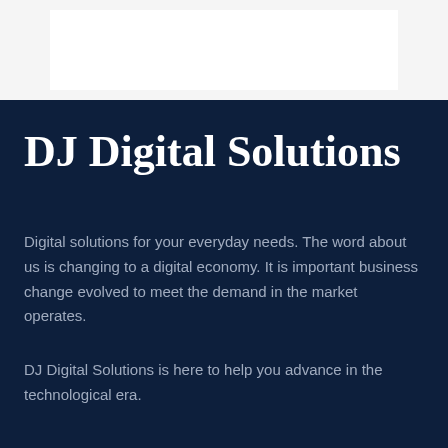DJ Digital Solutions
Digital solutions for your everyday needs.  The word about us is changing to a digital economy.   It is important business change evolved to meet the demand in the market operates.
DJ Digital Solutions is here to help you advance in the technological era.